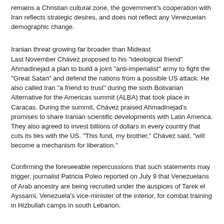remains a Christian cultural zone, the government's cooperation with Iran reflects strategic desires, and does not reflect any Venezuelan demographic change.
Iranian threat growing far broader than Mideast
Last November Chávez proposed to his "ideological friend" Ahmadinejad a plan to build a joint "anti-imperialist" army to fight the "Great Satan" and defend the nations from a possible US attack. He also called Iran "a friend to trust" during the sixth Bolivarian Alternative for the Americas summit (ALBA) that took place in Caracas. During the summit, Chávez praised Ahmadinejad's promises to share Iranian scientific developments with Latin America. They also agreed to invest billions of dollars in every country that cuts its ties with the US. "This fund, my brother," Chávez said, "will become a mechanism for liberation."
Confirming the foreseeable repercussions that such statements may trigger, journalist Patricia Poleo reported on July 9 that Venezuelans of Arab ancestry are being recruited under the auspices of Tarek el Ayssami, Venezuela's vice-minister of the interior, for combat training in Hizbullah camps in south Lebanon.